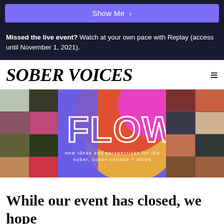Show Me >
Missed the live event? Watch at your own pace with Replay (access until November 1, 2021).
SOBER VOICES
[Figure (photo): FLOW event banner — colorful graphic with the word FLOW in large white outlined letters on a gradient background (purple, orange, pink), with subtitle 'new ideas and perspectives for the sober, sober-curious + allies', surrounded by a photo grid of diverse people]
While our event has closed, we hope